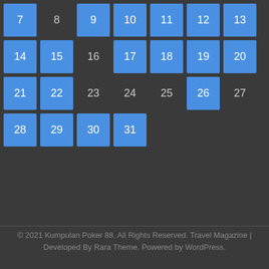[Figure (other): Calendar grid showing days 7-31. Days with blue highlighted tiles: 7,9,10,11,12,13,14,15,17,18,19,20,21,22,26,28,29,30,31. Days shown as plain text: 8,16,23,24,25,27.]
© 2021 Kumpulan Poker 88. All Rights Reserved. Travel Magazine | Developed By Rara Theme. Powered by WordPress.